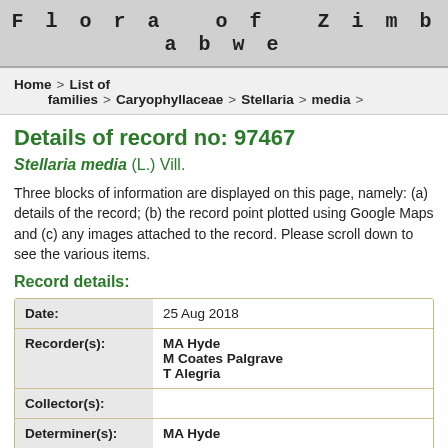Flora of Zimbabwe
Home > List of families > Caryophyllaceae > Stellaria > media >
Details of record no: 97467
Stellaria media (L.) Vill.
Three blocks of information are displayed on this page, namely: (a) details of the record; (b) the record point plotted using Google Maps and (c) any images attached to the record. Please scroll down to see the various items.
Record details:
| Field | Value |
| --- | --- |
| Date: | 25 Aug 2018 |
| Recorder(s): | MA Hyde
M Coates Palgrave
T Alegria |
| Collector(s): |  |
| Determiner(s): | MA Hyde |
| Confirmer(s): |  |